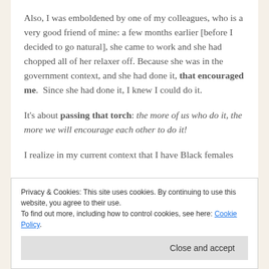Also, I was emboldened by one of my colleagues, who is a very good friend of mine: a few months earlier [before I decided to go natural], she came to work and she had chopped all of her relaxer off. Because she was in the government context, and she had done it, that encouraged me.  Since she had done it, I knew I could do it.
It's about passing that torch: the more of us who do it, the more we will encourage each other to do it!
I realize in my current context that I have Black females
Privacy & Cookies: This site uses cookies. By continuing to use this website, you agree to their use.
To find out more, including how to control cookies, see here: Cookie Policy